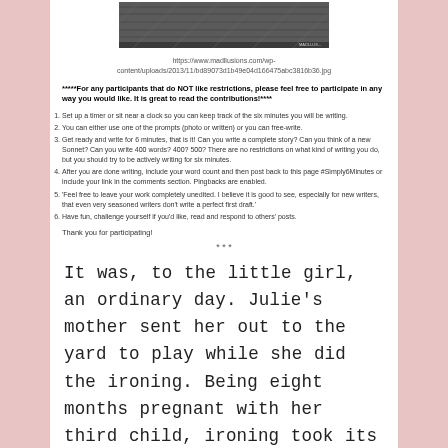[Figure (photo): Grayscale photograph at the top of the page]
https://www.madllusions.com/wp-content/uploads/2013/11/bd89073d1b49e04d166475abc3816b36.jpg
*****For any participants that do NOT like restrictions, please feel free to participate in any way you would like. It is great to read the contributions!****
Set up a timer or sit near a clock so you can keep track of the six minutes you will be writing.
You can either use one of the prompts (photo or written) or you can free-write.
Get ready and write for 6 minutes, that is it! Can you write a complete story? Can you think of a new Sonnet? Can you write 400 words? 400? 500? There are no restrictions on what kind of writing you do, but you should try to be actively writing for six minutes.
After you are done writing, include your word count and then post back to this page #Simply6Minutes or include your link in the comments section. Pingbacks are enabled.
'Feel free to leave your work completely unedited. I believe it is good to see, especially for new writers, that even very seasoned writers don't write a perfect first draft.'
Have fun, challenge yourself if you'd like, read and respond to others' posts.
Thank you for participating!
* * *
It was, to the little girl, an ordinary day. Julie's mother sent her out to the yard to play while she did the ironing. Being eight months pregnant with her third child, ironing took its toll and frequent trips to the bathroom left a hot iron in a dangerous position.